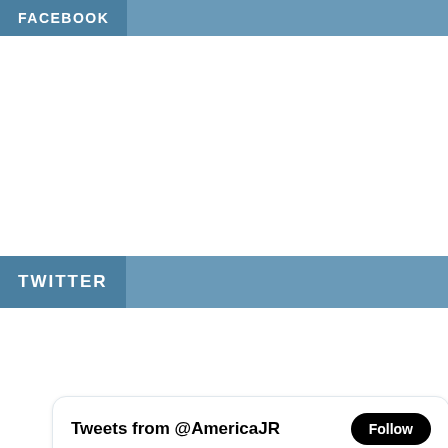FACEBOOK
TWITTER
[Figure (screenshot): Twitter widget showing tweets from @AmericaJR. A tweet by Jason Rzucidlo (@AmericaJR · 3h) reads: 'Check out the volcano 🌋 show at The Mirage… ending soon as the property will become a Hard Rock Hotel in the near future. A date has not been announced. #miragevolcano #miragelas vegas'. Four photos of the Mirage volcano show at night are displayed below the tweet.]